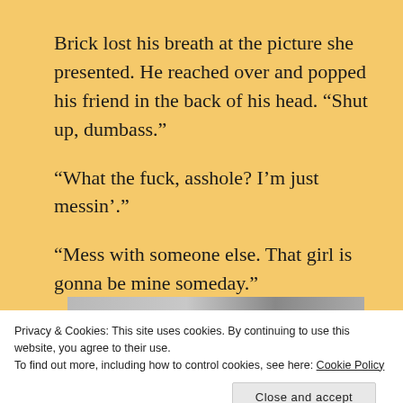Brick lost his breath at the picture she presented. He reached over and popped his friend in the back of his head. “Shut up, dumbass.”
“What the fuck, asshole? I’m just messin’.”
“Mess with someone else. That girl is gonna be mine someday.”
[Figure (photo): Partial view of a book cover with text 'THIS IS WHAT THE DRAGON' visible]
Privacy & Cookies: This site uses cookies. By continuing to use this website, you agree to their use.
To find out more, including how to control cookies, see here: Cookie Policy
Close and accept